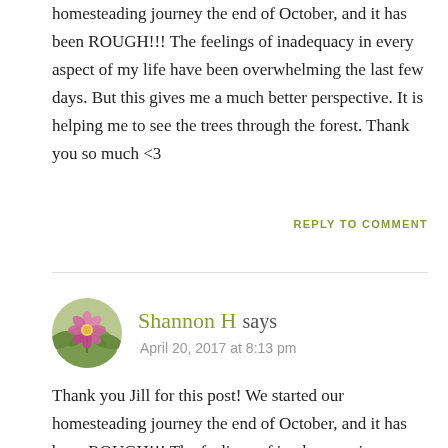homesteading journey the end of October, and it has been ROUGH!!! The feelings of inadequacy in every aspect of my life have been overwhelming the last few days. But this gives me a much better perspective. It is helping me to see the trees through the forest. Thank you so much <3
REPLY TO COMMENT
Shannon H says
April 20, 2017 at 8:13 pm
[Figure (illustration): Circular avatar showing a pink flower with green leaves on a blurred background]
Thank you Jill for this post! We started our homesteading journey the end of October, and it has been ROUGH!!! The feelings of inadequacy in every